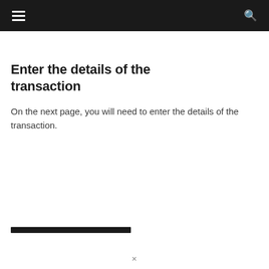navigation bar with hamburger menu and search icon
Enter the details of the transaction
On the next page, you will need to enter the details of the transaction.